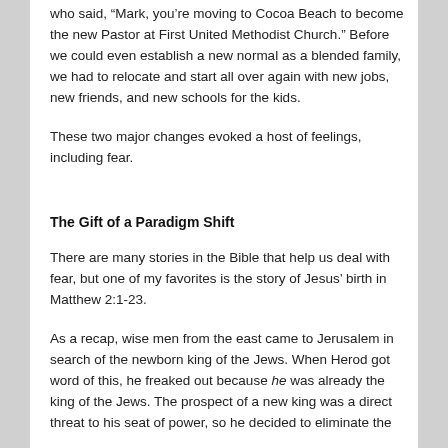who said, “Mark, you’re moving to Cocoa Beach to become the new Pastor at First United Methodist Church.” Before we could even establish a new normal as a blended family, we had to relocate and start all over again with new jobs, new friends, and new schools for the kids.
These two major changes evoked a host of feelings, including fear.
The Gift of a Paradigm Shift
There are many stories in the Bible that help us deal with fear, but one of my favorites is the story of Jesus’ birth in Matthew 2:1-23.
As a recap, wise men from the east came to Jerusalem in search of the newborn king of the Jews. When Herod got word of this, he freaked out because he was already the king of the Jews. The prospect of a new king was a direct threat to his seat of power, so he decided to eliminate the